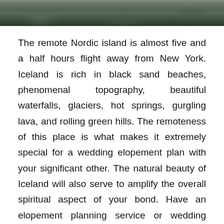[Figure (photo): Partial photo of a natural outdoor scene, appearing to show rocks and greenery, cropped to a horizontal strip at the top of the page.]
The remote Nordic island is almost five and a half hours flight away from New York. Iceland is rich in black sand beaches, phenomenal topography, beautiful waterfalls, glaciers, hot springs, gurgling lava, and rolling green hills. The remoteness of this place is what makes it extremely special for a wedding elopement plan with your significant other. The natural beauty of Iceland will also serve to amplify the overall spiritual aspect of your bond. Have an elopement planning service or wedding planning guide experts help you coordinate a beautiful wedding ceremony for just the two of you here. After you are done with the ceremony, you can relax and enjoy yourself at one of the retreats in Iceland, which guarantees you private access to the most famous tourist destination.